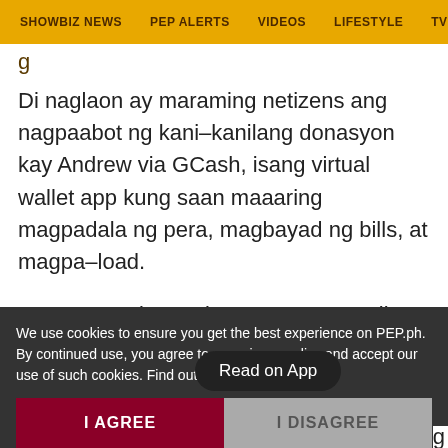SHOWBIZ NEWS | PEP ALERTS | VIDEOS | LIFESTYLE | TV & MOV
Di naglaon ay maraming netizens ang nagpaabot ng kani-kanilang donasyon kay Andrew via GCash, isang virtual wallet app kung saan maaaring magpadala ng pera, magbayad ng bills, at magpa-load.
Pero maraming netizens ang nagagalit ngayon kay Andrew dahil na-mi[Read on App]la ang ulat ng Abante noong August 21, 2022.
We use cookies to ensure you get the best experience on PEP.ph. By continued use, you agree to our privacy policy and accept our use of such cookies. Find out more here.
I AGREE
I DISAGREE